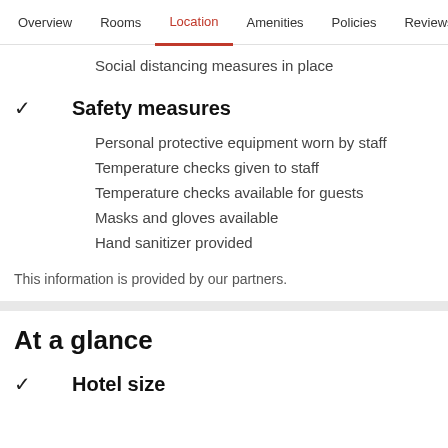Overview  Rooms  Location  Amenities  Policies  Reviews
Social distancing measures in place
Safety measures
Personal protective equipment worn by staff
Temperature checks given to staff
Temperature checks available for guests
Masks and gloves available
Hand sanitizer provided
This information is provided by our partners.
At a glance
Hotel size